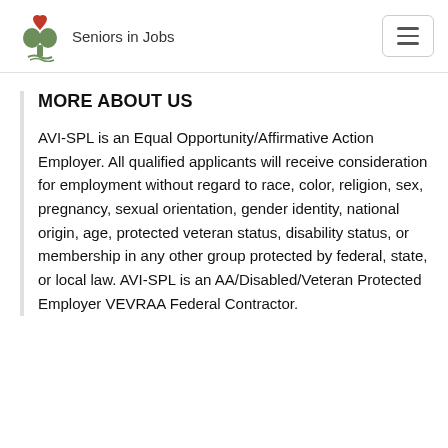Seniors in Jobs
MORE ABOUT US
AVI-SPL is an Equal Opportunity/Affirmative Action Employer. All qualified applicants will receive consideration for employment without regard to race, color, religion, sex, pregnancy, sexual orientation, gender identity, national origin, age, protected veteran status, disability status, or membership in any other group protected by federal, state, or local law. AVI-SPL is an AA/Disabled/Veteran Protected Employer VEVRAA Federal Contractor.